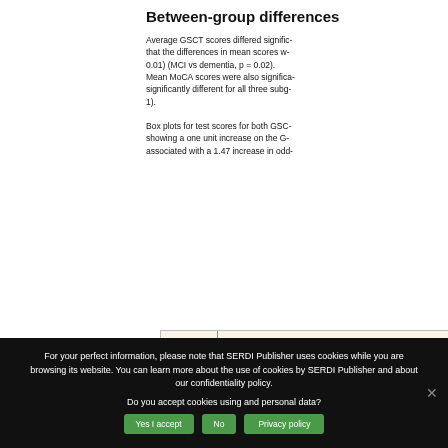Between-group differences
Average GSCT scores differed signific- that the differences in mean scores w- 0.01) (MCI vs dementia, p = 0.02). Mean MoCA scores were also significa- significantly different for all three subg- 1).
Box plots for test scores for both GSC- showing a one unit increase on the G- associated with a 1.47 increase in odd-
[Figure (other): Partial box plot chart with y-axis label '60', beige/cream background, showing beginning of a box plot figure for test scores.]
For your perfect information, please note that SERDI Publisher uses cookies while you are browsing its website. You can learn more about the use of cookies by SERDI Publisher and about our confidentiality policy.
Do you accept cookies using and personal data?